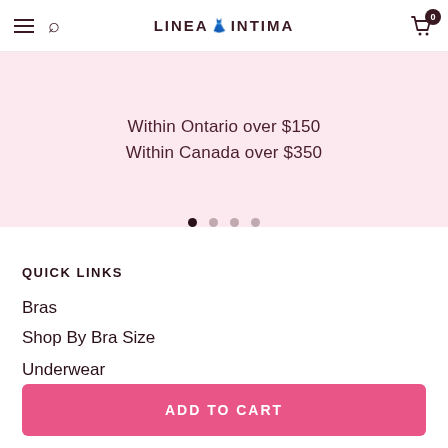LINEA INTIMA
Within Ontario over $150
Within Canada over $350
QUICK LINKS
Bras
Shop By Bra Size
Underwear
ADD TO CART
Sleepwear